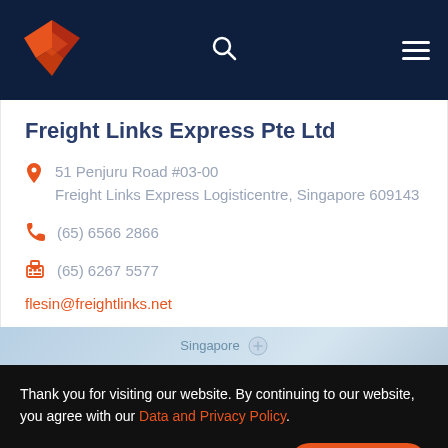[Figure (logo): Freight Links Express logo — orange and red diamond/arrow shape on dark navy background]
Freight Links Express Pte Ltd
51 Penjuru Road #03-00 Freight Links Express Logisticentre, Singapore 609143
(65) 6566 2866
(65) 6267 5577
flesin@freightlinks.net
[Figure (map): Partial map showing Singapore label and map UI]
Thank you for visiting our website. By continuing to our website, you agree with our Data and Privacy Policy.